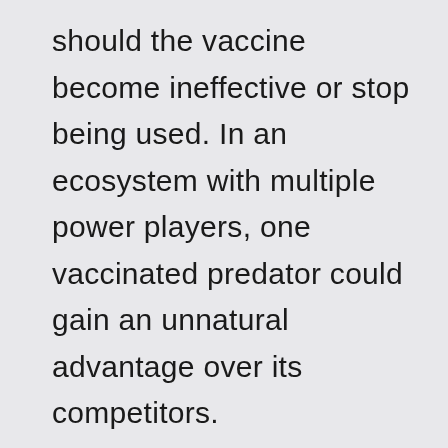should the vaccine become ineffective or stop being used. In an ecosystem with multiple power players, one vaccinated predator could gain an unnatural advantage over its competitors.

Some vaccines also bring direct risks. Injectable vaccines often require trapping the animal — a costly endeavor that's stressful and